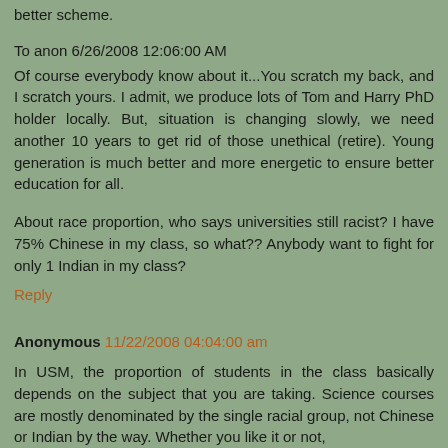better scheme.
To anon 6/26/2008 12:06:00 AM
Of course everybody know about it...You scratch my back, and I scratch yours. I admit, we produce lots of Tom and Harry PhD holder locally. But, situation is changing slowly, we need another 10 years to get rid of those unethical (retire). Young generation is much better and more energetic to ensure better education for all.
About race proportion, who says universities still racist? I have 75% Chinese in my class, so what?? Anybody want to fight for only 1 Indian in my class?
Reply
Anonymous 11/22/2008 04:04:00 am
In USM, the proportion of students in the class basically depends on the subject that you are taking. Science courses are mostly denominated by the single racial group, not Chinese or Indian by the way. Whether you like it or not,